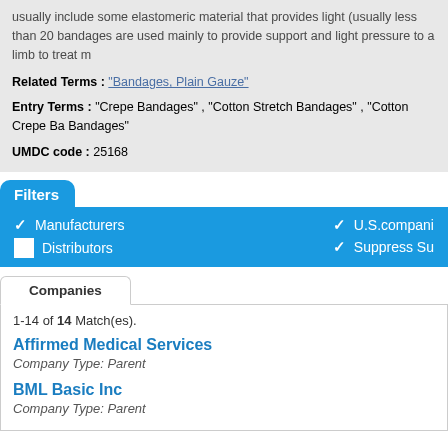usually include some elastomeric material that provides light (usually less than 20 bandages are used mainly to provide support and light pressure to a limb to treat m
Related Terms : "Bandages, Plain Gauze"
Entry Terms : "Crepe Bandages" , "Cotton Stretch Bandages" , "Cotton Crepe Ba... Bandages"
UMDC code : 25168
Filters
✓ Manufacturers   ✓ U.S.compani
□ Distributors    ✓ Suppress Su
Companies
1-14 of 14 Match(es).
Affirmed Medical Services
Company Type: Parent
BML Basic Inc
Company Type: Parent